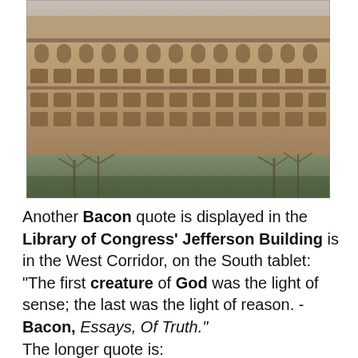[Figure (photo): Exterior photograph of the Library of Congress Jefferson Building, showing its ornate stone facade with arched windows and rows of rectangular windows on upper floors, with bare trees visible in the foreground.]
Another Bacon quote is displayed in the Library of Congress' Jefferson Building is in the West Corridor, on the South tablet:
"The first creature of God was the light of sense; the last was the light of reason. - Bacon, Essays, Of Truth."
The longer quote is:
"The first creation of God, in the works of